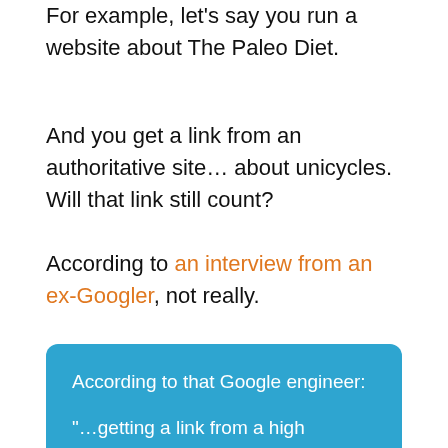For example, let's say you run a website about The Paleo Diet.
And you get a link from an authoritative site… about unicycles. Will that link still count?
According to an interview from an ex-Googler, not really.
According to that Google engineer:

“…getting a link from a high PageRank page used to always be valuable, today it’s more the relevance of the site’s theme in regards to yours, relevance is the new PageRank.”